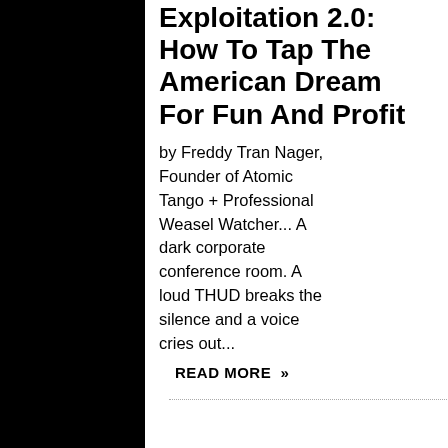Exploitation 2.0: How To Tap The American Dream For Fun And Profit
by Freddy Tran Nager, Founder of Atomic Tango + Professional Weasel Watcher... A dark corporate conference room. A loud THUD breaks the silence and a voice cries out...
READ MORE »
Freddy Tran Nager, Atomic Tango is an L.A.-based marketing and-media firm that specializes in critical thinking and creative daring. Here you'll